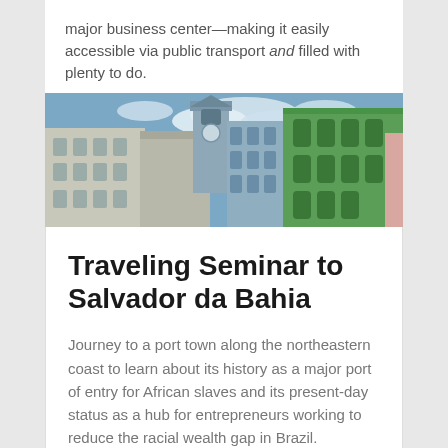major business center—making it easily accessible via public transport and filled with plenty to do.
[Figure (photo): Colorful colonial buildings and a church tower in the historic center of Salvador da Bahia, Brazil. Buildings are painted in white, green, and other colors under a partly cloudy sky.]
Traveling Seminar to Salvador da Bahia
Journey to a port town along the northeastern coast to learn about its history as a major port of entry for African slaves and its present-day status as a hub for entrepreneurs working to reduce the racial wealth gap in Brazil.